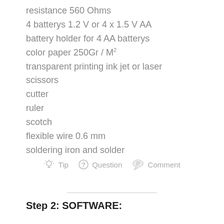resistance 560 Ohms
4 batterys 1.2 V or 4 x 1.5 V AA
battery holder for 4 AA batterys
color paper 250Gr / M²
transparent printing ink jet or laser
scissors
cutter
ruler
scotch
flexible wire 0.6 mm
soldering iron and solder
Tip  Question  Comment
Step 2: SOFTWARE: